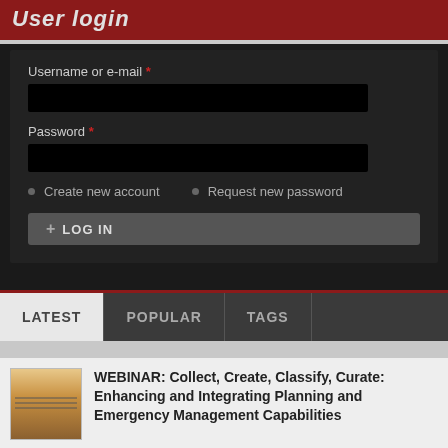User login
Username or e-mail *
Password *
Create new account
Request new password
+ LOG IN
LATEST
POPULAR
TAGS
WEBINAR: Collect, Create, Classify, Curate: Enhancing and Integrating Planning and Emergency Management Capabilities